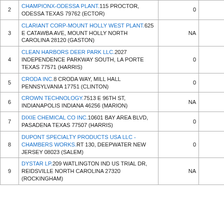| # | Facility Name and Address | Col1 | Col2 |
| --- | --- | --- | --- |
| 2 | CHAMPIONX-ODESSA PLANT.115 PROCTOR, ODESSA TEXAS 79762 (ECTOR) | 0 | 0 |
| 3 | CLARIANT CORP-MOUNT HOLLY WEST PLANT.625 E CATAWBA AVE, MOUNT HOLLY NORTH CAROLINA 28120 (GASTON) | NA | NA |
| 4 | CLEAN HARBORS DEER PARK LLC.2027 INDEPENDENCE PARKWAY SOUTH, LA PORTE TEXAS 77571 (HARRIS) | 0 | 0 |
| 5 | CRODA INC.8 CRODA WAY, MILL HALL PENNSYLVANIA 17751 (CLINTON) | 0 | 0 |
| 6 | CROWN TECHNOLOGY.7513 E 96TH ST, INDIANAPOLIS INDIANA 46256 (MARION) | NA | NA |
| 7 | DIXIE CHEMICAL CO INC.10601 BAY AREA BLVD, PASADENA TEXAS 77507 (HARRIS) | 0 | 0 |
| 8 | DUPONT SPECIALTY PRODUCTS USA LLC - CHAMBERS WORKS.RT 130, DEEPWATER NEW JERSEY 08023 (SALEM) | 0 | 0 |
| 9 | DYSTAR LP.209 WATLINGTON IND US TRIAL DR, REIDSVILLE NORTH CAROLINA 27320 (ROCKINGHAM) | NA | NA |